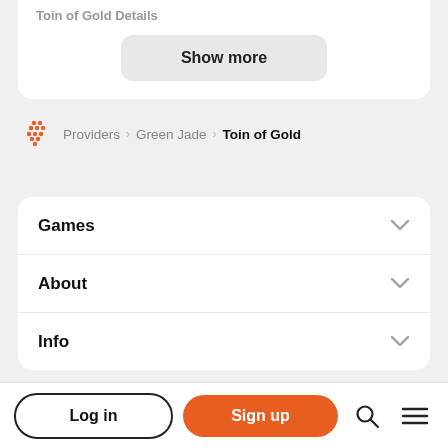Toin of Gold Details
Show more
Providers > Green Jade > Toin of Gold
Games
About
Info
Log in
Sign up